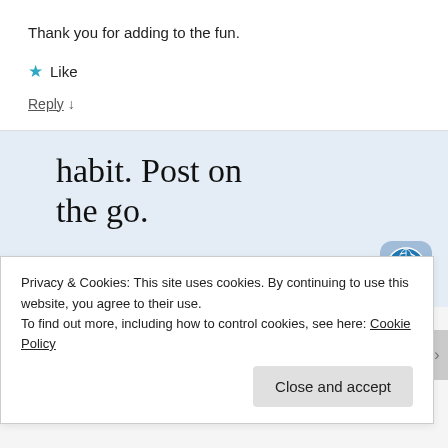Thank you for adding to the fun.
★ Like
Reply ↓
[Figure (screenshot): WordPress mobile app advertisement banner showing 'habit. Post on the go.' text in serif font on light blue background, with 'GET THE APP' link and WordPress app icon.]
Privacy & Cookies: This site uses cookies. By continuing to use this website, you agree to their use.
To find out more, including how to control cookies, see here: Cookie Policy
Close and accept